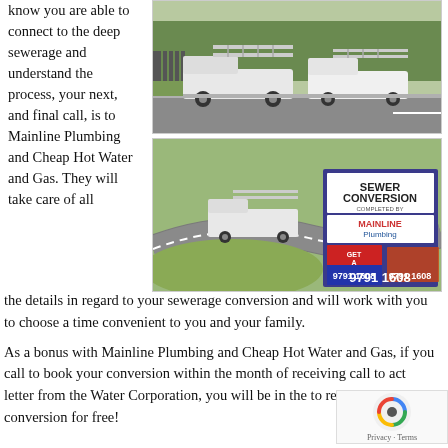know you are able to connect to the deep sewerage and understand the process, your next, and final call, is to Mainline Plumbing and Cheap Hot Water and Gas. They will take care of all the details in regard to your sewerage conversion and will work with you to choose a time convenient to you and your family.
[Figure (photo): Two white utility/work trucks parked on a suburban street beside a fence, with trees in background]
[Figure (photo): Work truck on a curved suburban road with a sign reading 'SEWER CONVERSION completed by MAINLINE Plumbing - A Great Hot Deals & Gas - GET A QUOTE TODAY - 9791 1608']
As a bonus with Mainline Plumbing and Cheap Hot Water and Gas, if you call to book your conversion within the month of receiving call to act letter from the Water Corporation, you will be in the to receive your conversion for free!